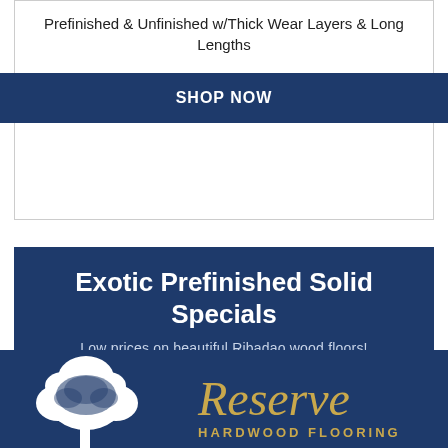Prefinished & Unfinished w/Thick Wear Layers & Long Lengths
SHOP NOW
Exotic Prefinished Solid Specials
Low prices on beautiful Ribadao wood floors!
SHOP NOW
[Figure (logo): Reserve Hardwood Flooring logo with white tree silhouette on dark navy background and gold script text 'Reserve' above 'HARDWOOD FLOORING']